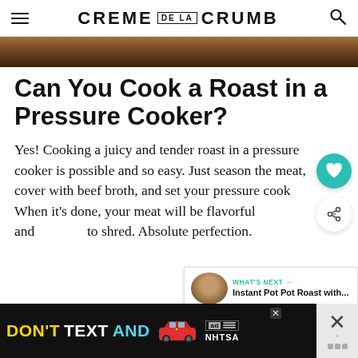CREME DE LA CRUMB
[Figure (photo): Partial hero food photograph, dark brown roasted meat background]
Can You Cook a Roast in a Pressure Cooker?
Yes! Cooking a juicy and tender roast in a pressure cooker is possible and so easy. Just season the meat, cover with beef broth, and set your pressure cooker. When it's done, your meat will be flavorful and to shred. Absolute perfection.
[Figure (infographic): Advertisement banner: DON'T TEXT AND [car image] with NHTSA branding]
WHAT'S NEXT → Instant Pot Pot Roast with...